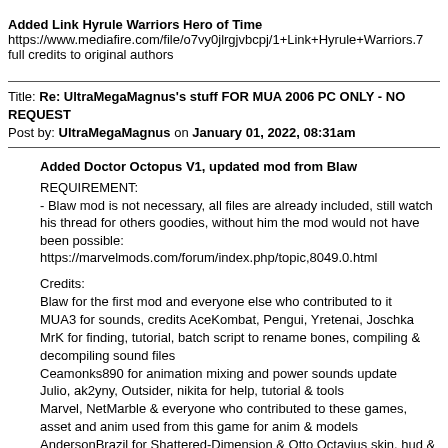Added Link Hyrule Warriors Hero of Time
https://www.mediafire.com/file/o7vy0jlrgjvbcpj/1+Link+Hyrule+Warriors.7
full credits to original authors
Title: Re: UltraMegaMagnus's stuff FOR MUA 2006 PC ONLY - NO REQUEST
Post by: UltraMegaMagnus on January 01, 2022, 08:31am
Added Doctor Octopus V1, updated mod from Blaw
REQUIREMENT:
- Blaw mod is not necessary, all files are already included, still watch his thread for others goodies, without him the mod would not have been possible:
https://marvelmods.com/forum/index.php/topic,8049.0.html
Credits:
Blaw for the first mod and everyone else who contributed to it
MUA3 for sounds, credits AceKombat, Pengui, Yretenai, Joschka
MrK for finding, tutorial, batch script to rename bones, compiling & decompiling sound files
Ceamonks890 for animation mixing and power sounds update
Julio, ak2yny, Outsider, nikita for help, tutorial & tools
Marvel, NetMarble & everyone who contributed to these games, asset and anim used from this game for anim & models
AndersonBrazil for Shattered-Dimension & Otto Octavius skin, hud & boltons
Sony for Otto Octavius image